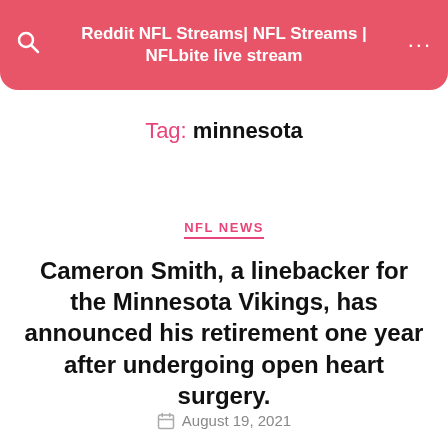Reddit NFL Streams| NFL Streams | NFLbite live stream
Tag: minnesota
NFL NEWS
Cameron Smith, a linebacker for the Minnesota Vikings, has announced his retirement one year after undergoing open heart surgery.
August 19, 2021